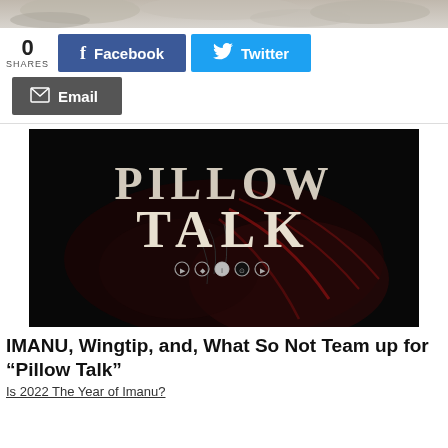[Figure (photo): Partial top image cropped, showing rocks or stone texture]
0 SHARES
f Facebook
Twitter
Email
[Figure (photo): Dark album cover image with feathers and text reading PILLOW TALK with circular icons below]
IMANU, Wingtip, and, What So Not Team up for “Pillow Talk”
Is 2022 The Year of Imanu?